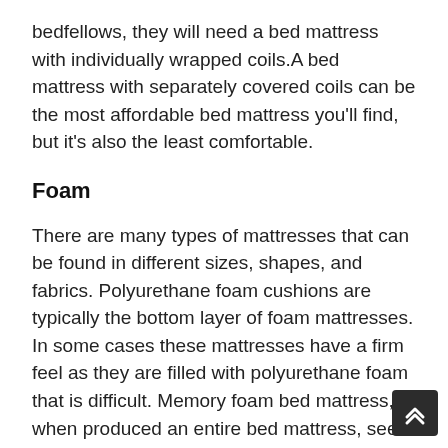bedfellows, they will need a bed mattress with individually wrapped coils.A bed mattress with separately covered coils can be the most affordable bed mattress you'll find, but it's also the least comfortable.
Foam
There are many types of mattresses that can be found in different sizes, shapes, and fabrics. Polyurethane foam cushions are typically the bottom layer of foam mattresses. In some cases these mattresses have a firm feel as they are filled with polyurethane foam that is difficult. Memory foam bed mattress, when produced an entire bed mattress, seem to go hand in hand with the name because of their distinct ways to support your body. Memory foam is the bottom layer in these bed mattress, because it tends to be soft and conforms